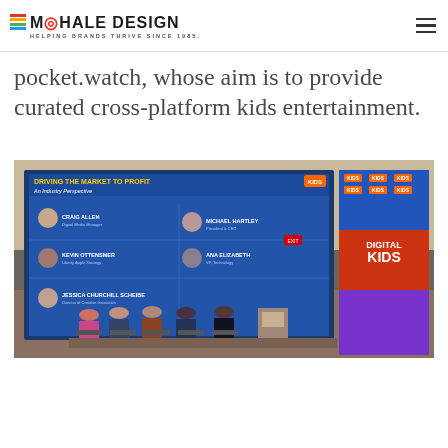MOHALE DESIGN — HELPING BRANDS THRIVE SINCE 1985.
pocket.watch, whose aim is to provide curated cross-platform kids entertainment.
[Figure (photo): Conference panel photo showing a presentation screen with 'DRIVING THE MARKET TO PROFIT: An Industry Perspective' featuring panelists Craig Allen, Michael Hartley, Kevin Ottensmer, and others listed with profile photos. In the background a Digital Kids branded backdrop is visible with panelists seated on stage.]